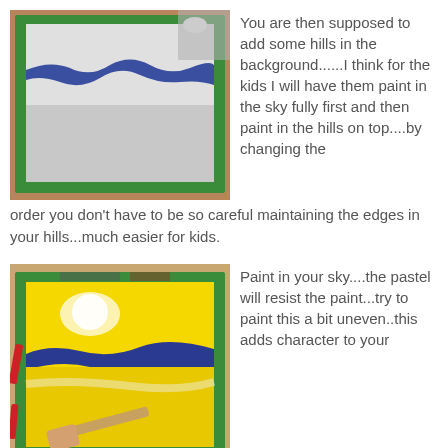[Figure (photo): A canvas with a blue wavy hill/horizon line painted across it, held in a green-taped frame on a painting surface]
You are then supposed to add some hills in the background......I think for the kids I will have them paint in the sky fully first and then paint in the hills on top....by changing the order you don't have to be so careful maintaining the edges in your hills...much easier for kids.
[Figure (photo): A canvas being painted with yellow and blue colors showing a sunny sky scene, with a hand holding a brush, framed in green tape]
Paint in your sky....the pastel will resist the paint...try to paint this a bit uneven..this adds character to your